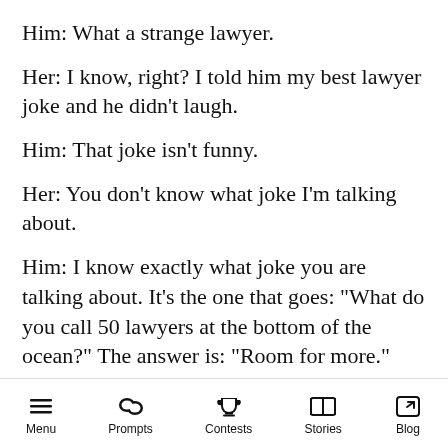Him: What a strange lawyer.
Her: I know, right? I told him my best lawyer joke and he didn't laugh.
Him: That joke isn't funny.
Her: You don't know what joke I'm talking about.
Him: I know exactly what joke you are talking about. It's the one that goes: "What do you call 50 lawyers at the bottom of the ocean?" The answer is: "Room for more."
Her: The way you just said it isn't funny.
Him: No, that joke is never funny. I wish you would stop telling it.
Menu  Prompts  Contests  Stories  Blog